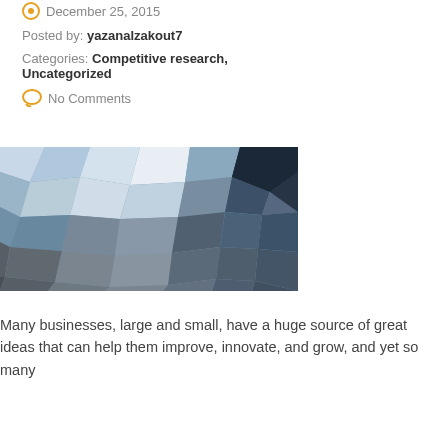December 25, 2015
Posted by: yazanalzakout7
Categories: Competitive research, Uncategorized
No Comments
[Figure (illustration): Abstract low-poly mosaic image with geometric polygons in shades of blue, grey, white, and dark navy arranged in a mosaic/crystal pattern.]
Many businesses, large and small, have a huge source of great ideas that can help them improve, innovate, and grow, and yet so many